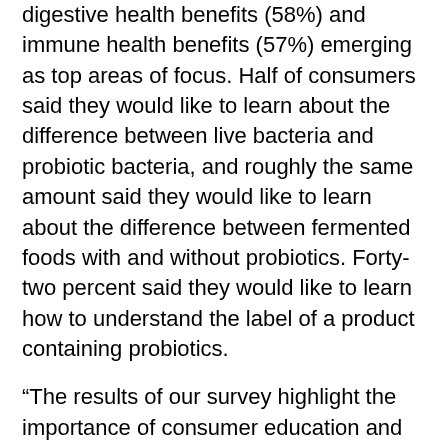digestive health benefits (58%) and immune health benefits (57%) emerging as top areas of focus. Half of consumers said they would like to learn about the difference between live bacteria and probiotic bacteria, and roughly the same amount said they would like to learn about the difference between fermented foods with and without probiotics. Forty-two percent said they would like to learn how to understand the label of a product containing probiotics.
“The results of our survey highlight the importance of consumer education and encourage continuing efforts to work with the industry to provide this education,” said Lars Bredmose, senior director of commercial development in food cultures and enzymes at Chr. Hansen. “We have worked to develop probiotic strain logos and trademarks that our customers may use to strengthen the credibility of their food with the world’s most-documented probiotics.”
The survey also highlighted consumption patterns around